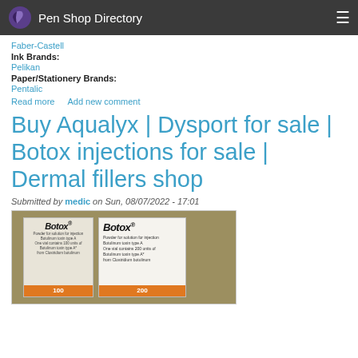Pen Shop Directory
Faber-Castell
Ink Brands:
Pelikan
Paper/Stationery Brands:
Pentalic
Read more   Add new comment
Buy Aqualyx | Dysport for sale | Botox injections for sale | Dermal fillers shop
Submitted by medic on Sun, 08/07/2022 - 17:01
[Figure (photo): Photo of Botox product boxes showing 'Botox - Botulinum toxin type A' packaging]